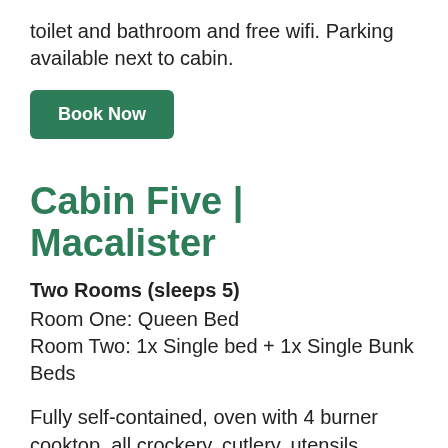toilet and bathroom and free wifi. Parking available next to cabin.
Book Now
Cabin Five | Macalister
Two Rooms (sleeps 5)
Room One: Queen Bed
Room Two: 1x Single bed + 1x Single Bunk Beds
Fully self-contained, oven with 4 burner cooktop, all crockery, cutlery, utensils necessary, refrigerator, microwave, television with DVD player, ceiling fan in the lounge room, reverse cycle air-conditioning, separate laundry with washing machine, clothes line, toilet and bathroom and free wifi. Parking available next to cabin.